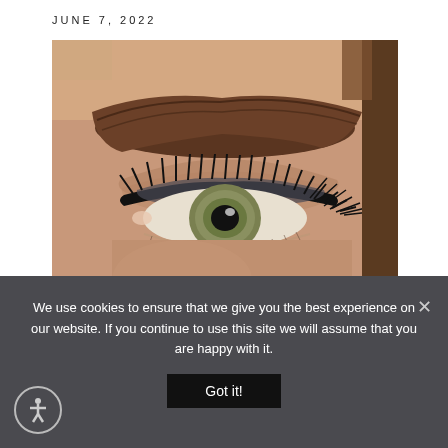JUNE 7, 2022
[Figure (photo): Close-up photograph of a woman's eye with a well-defined dark eyebrow, long black eyelashes, and green-hazel iris, showcasing eye makeup]
We use cookies to ensure that we give you the best experience on our website. If you continue to use this site we will assume that you are happy with it.
Got it!